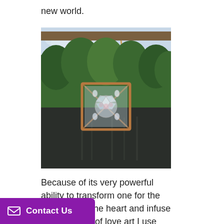new world.
[Figure (photo): A square decorative crystal/glass art piece with a geometric pattern hanging by a rope from a tree branch over a dark reflective pond with green trees in the background.]
Because of its very powerful ability to transform one for the better, open the heart and infuse true essence of love art I use Rose Quartz as GAIA Sophiels Disc. A
Contact Us